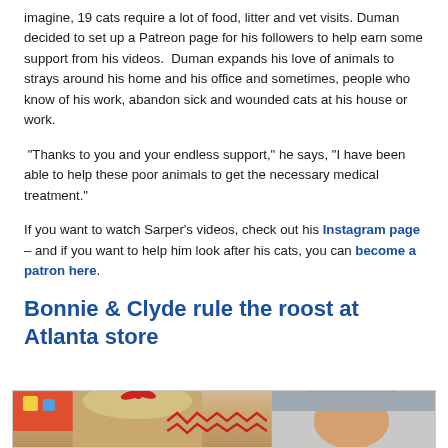imagine, 19 cats require a lot of food, litter and vet visits. Duman decided to set up a Patreon page for his followers to help earn some support from his videos.  Duman expands his love of animals to strays around his home and his office and sometimes, people who know of his work, abandon sick and wounded cats at his house or work.
“Thanks to you and your endless support,” he says, “I have been able to help these poor animals to get the necessary medical treatment.”
If you want to watch Sarper’s videos, check out his Instagram page – and if you want to help him look after his cats, you can become a patron here.
Bonnie & Clyde rule the roost at Atlanta store
[Figure (photo): Partial photo showing two people, appearing to be in a store setting.]